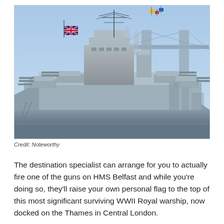[Figure (photo): Photograph of HMS Belfast warship docked on the Thames in Central London, with Tower Bridge visible in the background. The warship displays the Union Jack flag and multiple gun turrets. Sky is clear blue.]
Credit: Noteworthy
The destination specialist can arrange for you to actually fire one of the guns on HMS Belfast and while you're doing so, they'll raise your own personal flag to the top of this most significant surviving WWII Royal warship, now docked on the Thames in Central London.